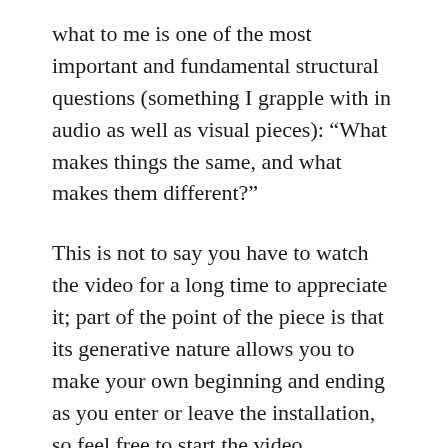what to me is one of the most important and fundamental structural questions (something I grapple with in audio as well as visual pieces): “What makes things the same, and what makes them different?”
This is not to say you have to watch the video for a long time to appreciate it; part of the point of the piece is that its generative nature allows you to make your own beginning and ending as you enter or leave the installation, so feel free to start the video somewhere in the middle and watch for as long as you want. The piece also works in an excerpt as brief as a single frame, as you can see in this Flickr gallery.